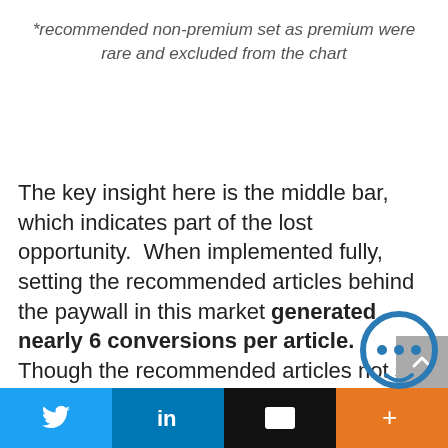*recommended non-premium set as premium were rare and excluded from the chart
The key insight here is the middle bar, which indicates part of the lost opportunity. When implemented fully, setting the recommended articles behind the paywall in this market generated nearly 6 conversions per article. Though the recommended articles not set as premium still performed strongly (2 conversions per article). Similar articles set to premium
Twitter | LinkedIn | Email | More